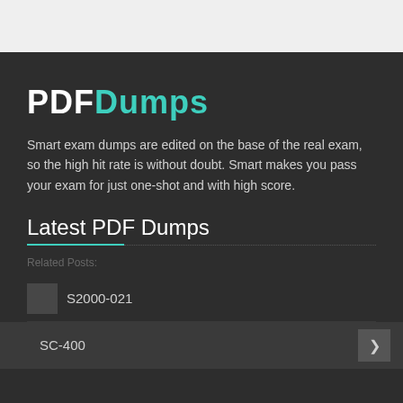PDFDumps
Smart exam dumps are edited on the base of the real exam, so the high hit rate is without doubt. Smart makes you pass your exam for just one-shot and with high score.
Latest PDF Dumps
Related Posts:
S2000-021
SC-400